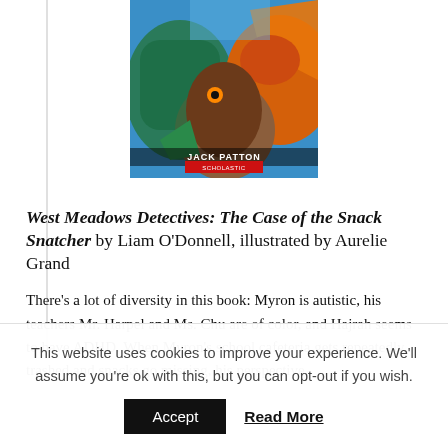[Figure (illustration): Book cover of 'West Meadows Detectives: The Case of the Snack Snatcher' featuring colorful cartoon dinosaur/dragon characters, with author name JACK PATTON and Scholastic logo at the bottom.]
West Meadows Detectives: The Case of the Snack Snatcher by Liam O'Donnell, illustrated by Aurelie Grand
There's a lot of diversity in this book: Myron is autistic, his teachers Mr. Harpel and Ms. Chu are of color, and Hajrah seems to have ADHD. When Myron's school cafeteria gets repeatedly trashed and snacks go missing, his perspective
This website uses cookies to improve your experience. We'll assume you're ok with this, but you can opt-out if you wish.